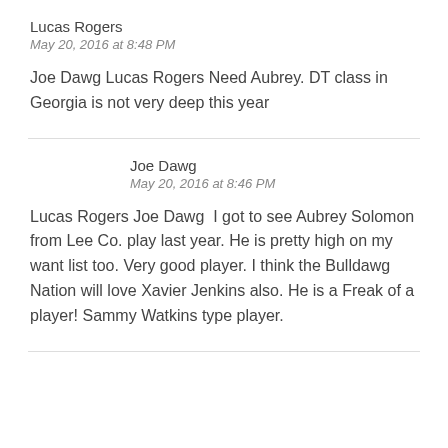Lucas Rogers
May 20, 2016 at 8:48 PM
Joe Dawg Lucas Rogers Need Aubrey. DT class in Georgia is not very deep this year
Joe Dawg
May 20, 2016 at 8:46 PM
Lucas Rogers Joe Dawg  I got to see Aubrey Solomon from Lee Co. play last year. He is pretty high on my want list too. Very good player. I think the Bulldawg Nation will love Xavier Jenkins also. He is a Freak of a player! Sammy Watkins type player.